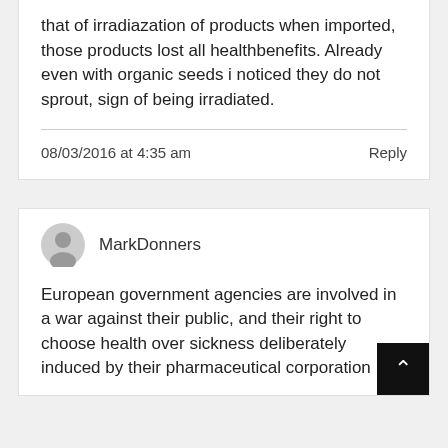that of irradiazation of products when imported, those products lost all healthbenefits. Already even with organic seeds i noticed they do not sprout, sign of being irradiated.
08/03/2016 at 4:35 am
Reply
MarkDonners
European government agencies are involved in a war against their public, and their right to choose health over sickness deliberately induced by their pharmaceutical corporation